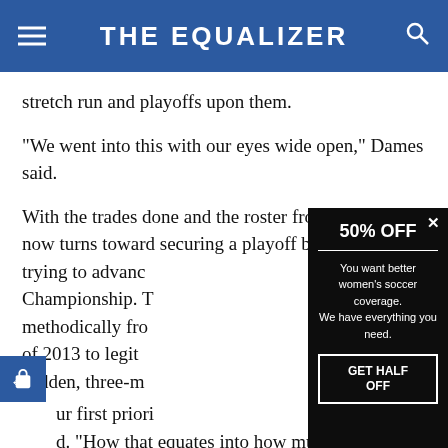THE EQUALIZER
stretch run and playoffs upon them.
“We went into this with our eyes wide open,” Dames said.
With the trades done and the roster frozen, focus now turns toward securing a playoff berth and trying to advance to the NWSL Championship. The [text partially obscured] methodically from the depths of 2013 to legit contenders, and sudden, three-m[onth window] threw a bit of c[urveball]
[Figure (screenshot): Modal popup advertisement on black background with '50% OFF' heading, divider line, text 'You want better women’s soccer coverage. We have everything you need.' and a 'GET HALF OFF' button with white border. A close X button appears in upper right.]
[ur first priori...] d. “How that equates into how much we can pus[h]